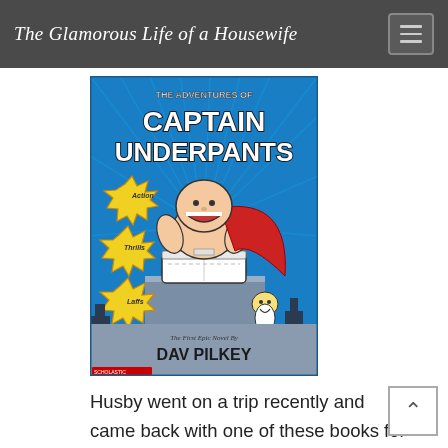The Glamorous Life of a Housewife
[Figure (illustration): Book cover of 'The Adventures of Captain Underpants: The First Epic Novel by Dav Pilkey' published by Scholastic. Shows a cartoon bald superhero character in underwear and a red cape standing on a building, with 'Action', 'Thrills', 'Laffs' starburst labels.]
Husby went on a trip recently and came back with one of these books for the boys.  He read a chapter to them every night before bed and they were OBSESSED. the rest of the time too